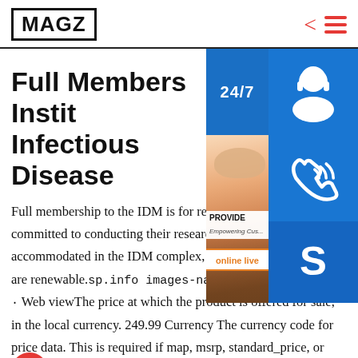MAGZ
Full Members Institute Infectious Disease
[Figure (infographic): Customer support widget overlay with 24/7 label, headset icon, phone icon, Skype icon, person with headset photo, PROVIDE Empowering Customers text, and online live button]
Full membership to the IDM is for researchers who are fully committed to conducting their research in the IDM, preferably accommodated in the IDM complex, for 5-year terms, which are renewable.sp.info images-na.ssl-images-amazon · Web viewThe price at which the product is offered for sale, in the local currency. 249.99 Currency The currency code for price data. This is required if map, msrp, standard_price, or sale_price is provided. The